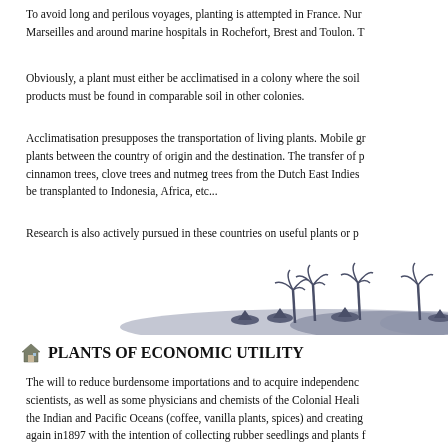To avoid long and perilous voyages, planting is attempted in France. Nurseries are created in Marseilles and around marine hospitals in Rochefort, Brest and Toulon. T
Obviously, a plant must either be acclimatised in a colony where the soil products must be found in comparable soil in other colonies.
Acclimatisation presupposes the transportation of living plants. Mobile gr plants between the country of origin and the destination. The transfer of p cinnamon trees, clove trees and nutmeg trees from the Dutch East Indies be transplanted to Indonesia, Africa, etc...
Research is also actively pursued in these countries on useful plants or p
[Figure (illustration): Decorative illustration of a tropical landscape with palm trees, small huts, and rolling hills in a blue-grey ink style.]
PLANTS OF ECONOMIC UTILITY
The will to reduce burdensome importations and to acquire independenc scientists, as well as some physicians and chemists of the Colonial Heali the Indian and Pacific Oceans (coffee, vanilla plants, spices) and creating again in1897 with the intention of collecting rubber seedlings and plants f percha are the source of a latex used in surgery and, above all, in electri